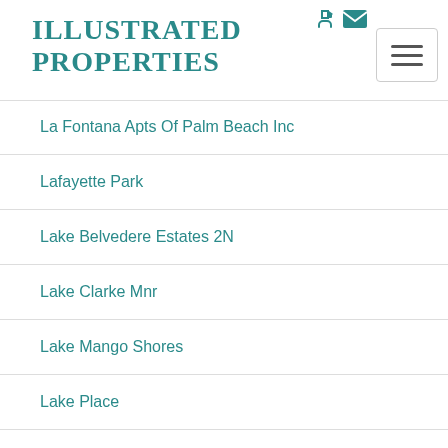Illustrated Properties
La Fontana Apts Of Palm Beach Inc
Lafayette Park
Lake Belvedere Estates 2N
Lake Clarke Mnr
Lake Mango Shores
Lake Place
Lake Place Condo